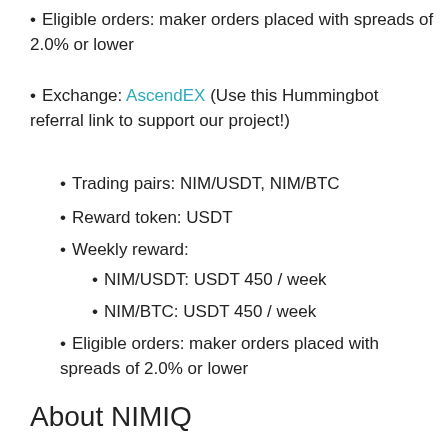Eligible orders: maker orders placed with spreads of 2.0% or lower
Exchange: AscendEX (Use this Hummingbot referral link to support our project!)
Trading pairs: NIM/USDT, NIM/BTC
Reward token: USDT
Weekly reward:
NIM/USDT: USDT 450 / week
NIM/BTC: USDT 450 / week
Eligible orders: maker orders placed with spreads of 2.0% or lower
About NIMIQ
Nimiq is a Blockchain Ecosystem for payments designed to make cryptocurrencies easy to use for everyone without compromising decentralization. With the upcoming transition to Proof Of Stake, Nimiq will become faster and more